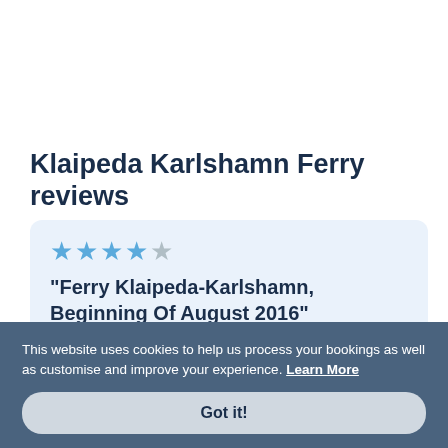Klaipeda Karlshamn Ferry reviews
★★★★☆
"Ferry Klaipeda-Karlshamn, Beginning Of August 2016"
This website uses cookies to help us process your bookings as well as customise and improve your experience. Learn More
Got it!